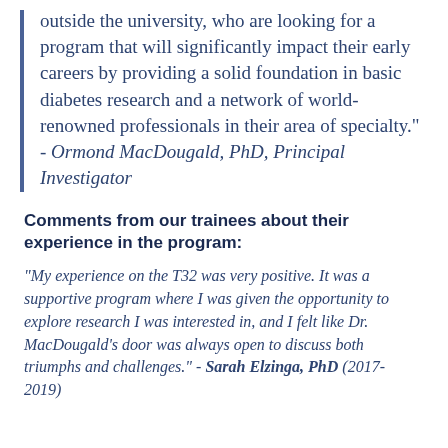outside the university, who are looking for a program that will significantly impact their early careers by providing a solid foundation in basic diabetes research and a network of world-renowned professionals in their area of specialty." - Ormond MacDougald, PhD, Principal Investigator
Comments from our trainees about their experience in the program:
"My experience on the T32 was very positive. It was a supportive program where I was given the opportunity to explore research I was interested in, and I felt like Dr. MacDougald's door was always open to discuss both triumphs and challenges." - Sarah Elzinga, PhD (2017-2019)